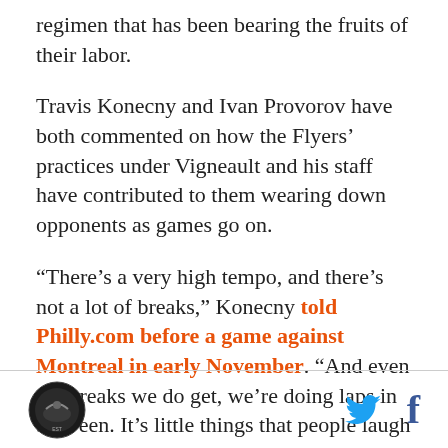regimen that has been bearing the fruits of their labor.
Travis Konecny and Ivan Provorov have both commented on how the Flyers' practices under Vigneault and his staff have contributed to them wearing down opponents as games go on.
“There’s a very high tempo, and there’s not a lot of breaks,” Konecny told Philly.com before a game against Montreal in early November. “And even the breaks we do get, we’re doing laps in between. It’s little things that people laugh at and don’t really understand the logic behind it, but look at the third periods and we’re outskating teams.”
[logo] [twitter] [facebook]